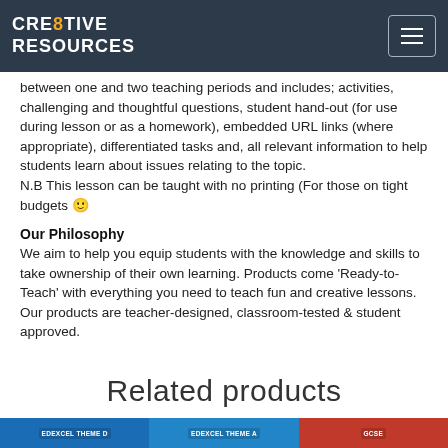CRE8TIVE RESOURCES
between one and two teaching periods and includes; activities, challenging and thoughtful questions, student hand-out (for use during lesson or as a homework), embedded URL links (where appropriate), differentiated tasks and, all relevant information to help students learn about issues relating to the topic.
N.B This lesson can be taught with no printing (For those on tight budgets 🙂
Our Philosophy
We aim to help you equip students with the knowledge and skills to take ownership of their own learning. Products come 'Ready-to-Teach' with everything you need to teach fun and creative lessons. Our products are teacher-designed, classroom-tested & student approved.
Related products
[Figure (photo): Three product thumbnail images at the bottom: EDEXCEL THEME D (blue), EDEXCEL THEME A (blue), and GCSE (red)]